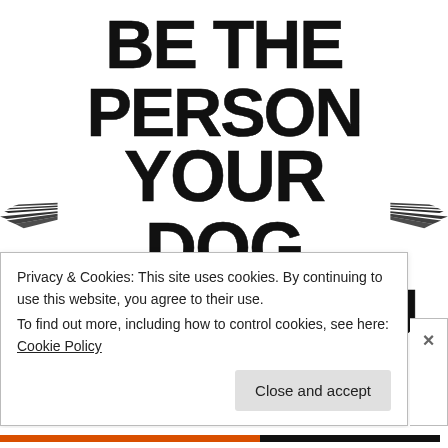[Figure (illustration): Motivational quote in large distressed bold uppercase text reading 'BE THE PERSON YOUR DOG THINKS YOU ARE' with decorative wings flanking 'YOUR DOG'. Below the main image is a cookie consent banner overlay.]
Privacy & Cookies: This site uses cookies. By continuing to use this website, you agree to their use.
To find out more, including how to control cookies, see here: Cookie Policy
Close and accept